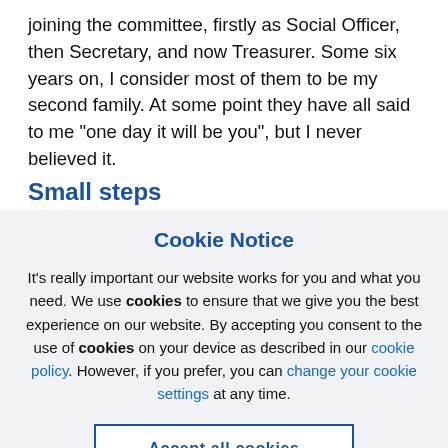joining the committee, firstly as Social Officer, then Secretary, and now Treasurer. Some six years on, I consider most of them to be my second family. At some point they have all said to me “one day it will be you”, but I never believed it.
Small steps
Cookie Notice
It’s really important our website works for you and what you need. We use cookies to ensure that we give you the best experience on our website. By accepting you consent to the use of cookies on your device as described in our cookie policy. However, if you prefer, you can change your cookie settings at any time.
Accept all cookies